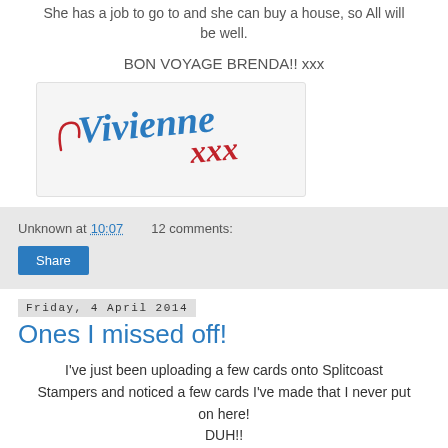She has a job to go to and she can buy a house, so All will be well.
BON VOYAGE BRENDA!! xxx
[Figure (illustration): Handwritten signature reading 'Vivienne xxx' in blue and red cursive script on a light grey background]
Unknown at 10:07   12 comments:
Share
Friday, 4 April 2014
Ones I missed off!
I've just been uploading a few cards onto Splitcoast Stampers and noticed a few cards I've made that I never put on here!
DUH!!